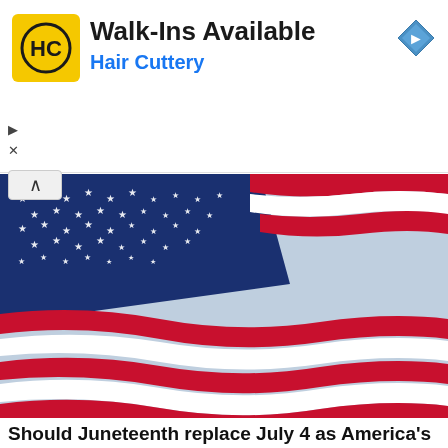[Figure (logo): Hair Cuttery HC logo in yellow square with Walk-Ins Available text and blue navigation diamond icon]
[Figure (photo): American flag waving, close-up showing stars and red/white/blue stripes against a blue sky]
Should Juneteenth replace July 4 as America's Independence Day?
Yes  No  Not sure
298,675 Votes